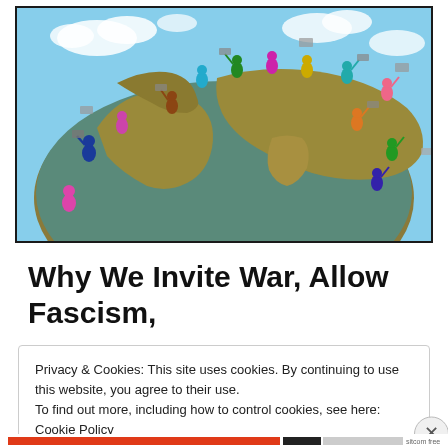[Figure (illustration): 3D illustration of colorful figurines standing on top of a globe/Earth, each holding signs or placards, set against a blue sky background. The globe shows Africa, Europe, Asia landmasses in golden-brown color.]
Why We Invite War, Allow Fascism,
Privacy & Cookies: This site uses cookies. By continuing to use this website, you agree to their use.
To find out more, including how to control cookies, see here: Cookie Policy
Close and accept